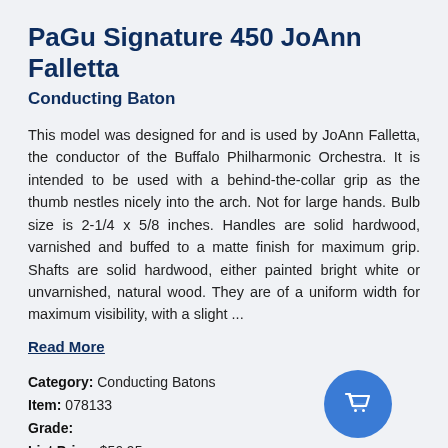PaGu Signature 450 JoAnn Falletta
Conducting Baton
This model was designed for and is used by JoAnn Falletta, the conductor of the Buffalo Philharmonic Orchestra. It is intended to be used with a behind-the-collar grip as the thumb nestles nicely into the arch. Not for large hands. Bulb size is 2-1/4 x 5/8 inches. Handles are solid hardwood, varnished and buffed to a matte finish for maximum grip. Shafts are solid hardwood, either painted bright white or unvarnished, natural wood. They are of a uniform width for maximum visibility, with a slight ...
Read More
Category: Conducting Batons
Item: 078133
Grade:
List Price: $56.95
OUR PRICE: $55.95